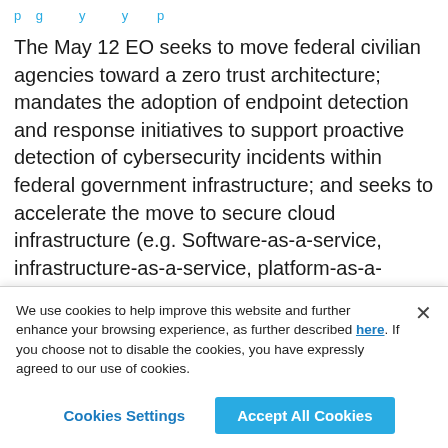p ... g ... y ... y ... p ...
The May 12 EO seeks to move federal civilian agencies toward a zero trust architecture; mandates the adoption of endpoint detection and response initiatives to support proactive detection of cybersecurity incidents within federal government infrastructure; and seeks to accelerate the move to secure cloud infrastructure (e.g. Software-as-a-service, infrastructure-as-a-service, platform-as-a-service). The EO also directs a robust level of cybersecurity information sharing, and to that end, requires that civilian agencies' object level data are
We use cookies to help improve this website and further enhance your browsing experience, as further described here. If you choose not to disable the cookies, you have expressly agreed to our use of cookies.
Cookies Settings | Accept All Cookies